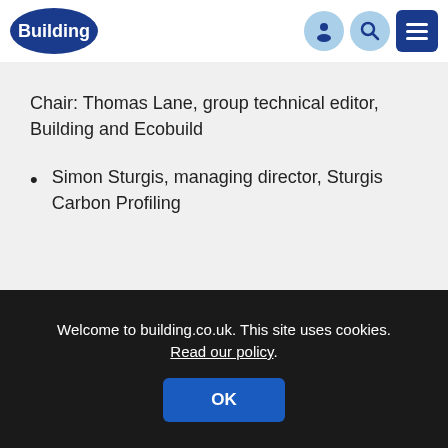Building
Chair: Thomas Lane, group technical editor, Building and Ecobuild
Simon Sturgis, managing director, Sturgis Carbon Profiling
Welcome to building.co.uk. This site uses cookies. Read our policy.
OK